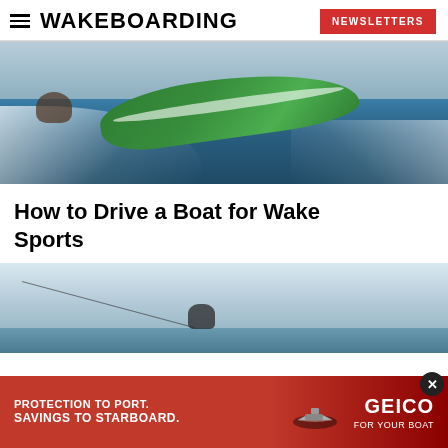WAKEBOARDING | NEWSLETTERS
[Figure (photo): A green speedboat on a lake pulling a water skier, viewed from above/side, creating a large white wake.]
How to Drive a Boat for Wake Sports
[Figure (photo): A wakeboarder being pulled by a rope against a sky and water background, mid-session.]
[Figure (other): GEICO advertisement banner: 'PROTECTION TO PORT. SAVINGS TO STARBOARD.' with GEICO FOR YOUR BOAT logo and boat icon.]